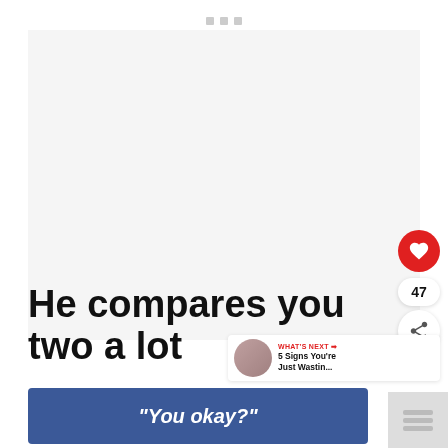[Figure (screenshot): Blank/whitespace image area with a top menu bar showing three small grey squares]
[Figure (other): Red circular heart/like button with count 47 and a share button below]
[Figure (other): What's Next card: thumbnail of woman in pink, label WHAT'S NEXT, title '5 Signs You're Just Wastin...']
He compares you two a lot
[Figure (screenshot): Blue Facebook-style ad banner with italic white text: "You okay?"]
[Figure (other): Partial grey thumbnail visible at bottom right]